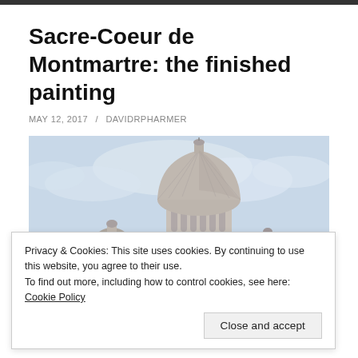Sacre-Coeur de Montmartre: the finished painting
MAY 12, 2017 / DAVIDRPHARMER
[Figure (illustration): Watercolor painting of Sacre-Coeur de Montmartre basilica in Paris, showing the main white dome and surrounding towers against a light blue cloudy sky, with colorful flowers visible at the bottom edge.]
Privacy & Cookies: This site uses cookies. By continuing to use this website, you agree to their use.
To find out more, including how to control cookies, see here: Cookie Policy
Close and accept